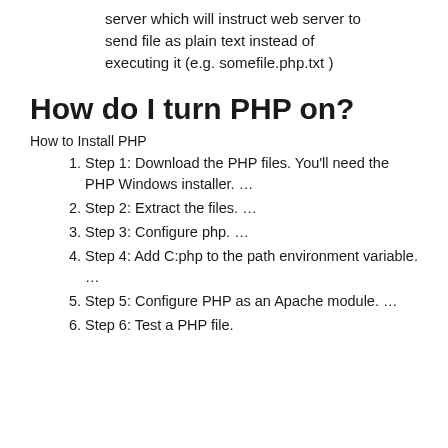server which will instruct web server to send file as plain text instead of executing it (e.g. somefile.php.txt )
How do I turn PHP on?
How to Install PHP
Step 1: Download the PHP files. You'll need the PHP Windows installer. …
Step 2: Extract the files. …
Step 3: Configure php. …
Step 4: Add C:php to the path environment variable. …
Step 5: Configure PHP as an Apache module. …
Step 6: Test a PHP file.